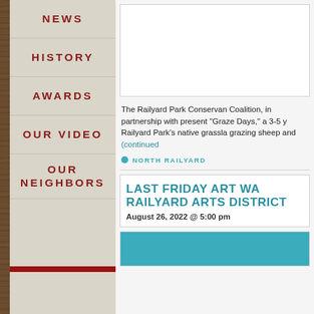NEWS
HISTORY
AWARDS
OUR VIDEO
OUR NEIGHBORS
[Figure (photo): White image box at top of right content area]
The Railyard Park Conservancy Coalition, in partnership with present "Graze Days," a 3-5 y Railyard Park's native grassla grazing sheep and (continued)
NORTH RAILYARD
LAST FRIDAY ART WA Railyard Arts District
August 26, 2022 @ 5:00 pm
[Figure (photo): Teal/blue image at bottom of page]